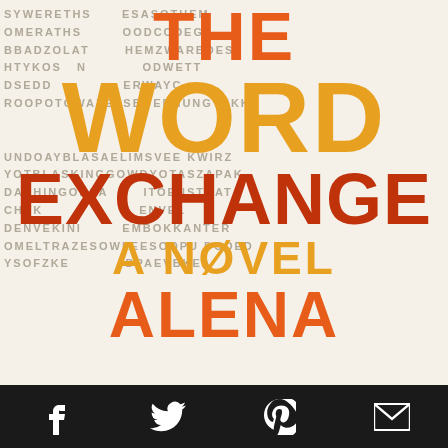[Figure (illustration): Book cover of 'The Word Exchange: A Novel' by Alena, featuring large bold typographic title text in orange and red colors overlaid on a word search puzzle background of random letters. The cover shows 'THE', 'WORD', 'EXCHANGE' in large orange/red stacked text, 'A NOVEL' in yellow-orange, and 'ALENA' partially visible at bottom, all on a cream/off-white letter grid background.]
Facebook  Twitter  Pinterest  Email (social media sharing icons)